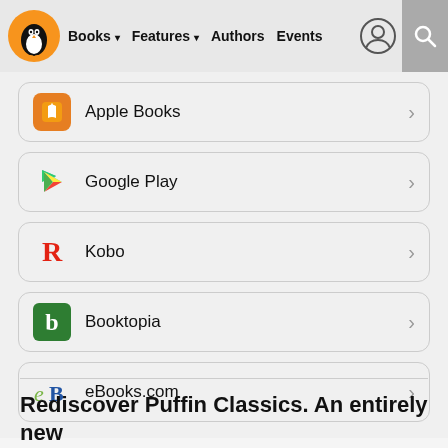Books ▾  Features ▾  Authors  Events
Apple Books
Google Play
Kobo
Booktopia
eBooks.com
Rediscover Puffin Classics. An entirely new